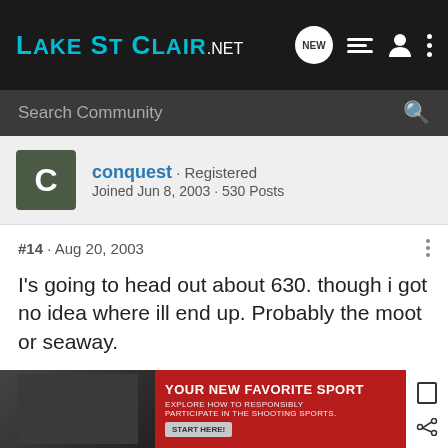LakeStClair.NET
Search Community
conquest · Registered
Joined Jun 8, 2003 · 530 Posts
#14 · Aug 20, 2003
I's going to head out about 630. though i got no idea where ill end up. Probably the moot or seaway.
my friends are my hero&#39;s, they give me the strength and courage to greet every morning with a smile
[Figure (infographic): Advertisement banner: YOUR NEW FAVORITE SPORT — EXPLORE HOW TO RESPONSIBLY PARTICIPATE IN THE SHOOTING SPORTS. START HERE!]